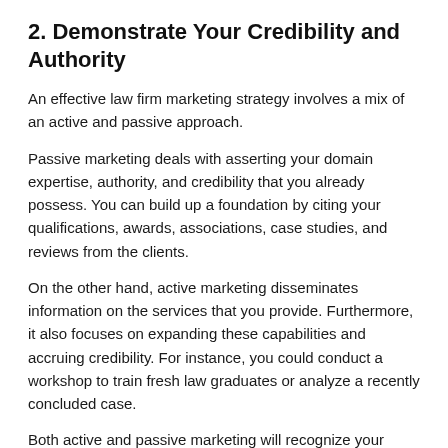2. Demonstrate Your Credibility and Authority
An effective law firm marketing strategy involves a mix of an active and passive approach.
Passive marketing deals with asserting your domain expertise, authority, and credibility that you already possess. You can build up a foundation by citing your qualifications, awards, associations, case studies, and reviews from the clients.
On the other hand, active marketing disseminates information on the services that you provide. Furthermore, it also focuses on expanding these capabilities and accruing credibility. For instance, you could conduct a workshop to train fresh law graduates or analyze a recently concluded case.
Both active and passive marketing will recognize your career milestones while also outlining the future